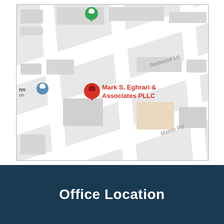[Figure (map): Google Maps screenshot showing a street map with a red location pin labeled 'Mark S. Eghrari & Associates PLLC', a green pin in the upper area, a blue pin labeled 'RR on', streets including Redwood Ln and Manor Rd, and building footprints visible on the map.]
Office Location